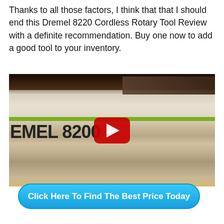Thanks to all those factors, I think that that I should end this Dremel 8220 Cordless Rotary Tool Review with a definite recommendation. Buy one now to add a good tool to your inventory.
[Figure (screenshot): A YouTube video thumbnail/player showing the Dremel 8220 product box with a red play button overlay in the center.]
Click Here To Find The Best Price Today